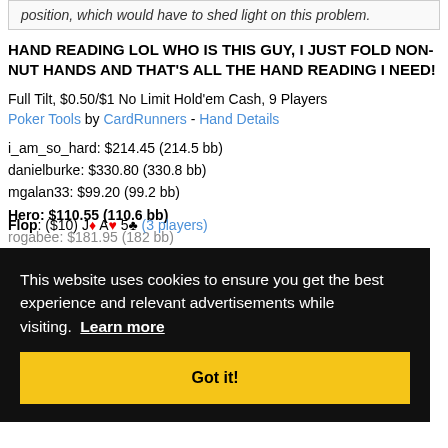position, which would have to shed light on this problem.
HAND READING LOL WHO IS THIS GUY, I JUST FOLD NON-NUT HANDS AND THAT'S ALL THE HAND READING I NEED!
Full Tilt, $0.50/$1 No Limit Hold'em Cash, 9 Players
Poker Tools by CardRunners - Hand Details
i_am_so_hard: $214.45 (214.5 bb)
danielburke: $330.80 (330.8 bb)
mgalan33: $99.20 (99.2 bb)
Hero: $110.55 (110.6 bb)
rogabee: $181.95 (182 bb)
This website uses cookies to ensure you get the best experience and relevant advertisements while visiting. Learn more
Got it!
Flop: ($10) J♦ A♥ 5♣ (3 players)